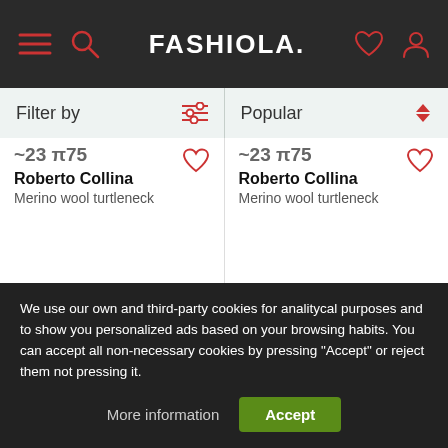FASHIOLA.
Filter by
Popular
Roberto Collina
Merino wool turtleneck
Roberto Collina
Merino wool turtleneck
We use our own and third-party cookies for analitycal purposes and to show you personalized ads based on your browsing habits. You can accept all non-necessary cookies by pressing "Accept" or reject them not pressing it.
More information
Accept